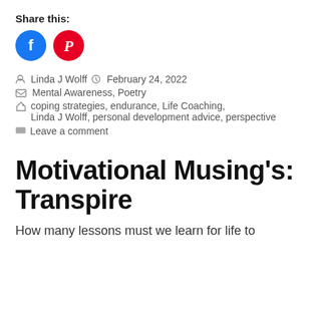Share this:
[Figure (other): Social share buttons: Facebook (blue circle) and Pinterest (red circle)]
Linda J Wolff   February 24, 2022
Mental Awareness, Poetry
coping strategies, endurance, Life Coaching, Linda J Wolff, personal development advice, perspective
Leave a comment
Motivational Musing's: Transpire
How many lessons must we learn for life to